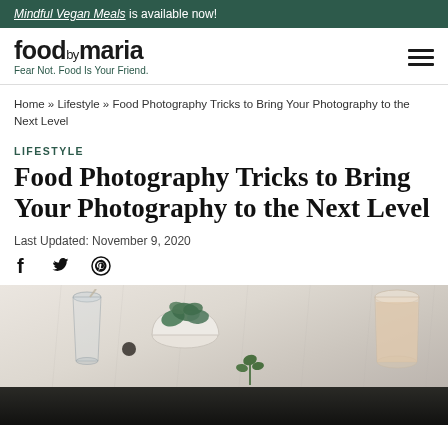Mindful Vegan Meals is available now!
foodbymaria — Fear Not. Food Is Your Friend.
Home » Lifestyle » Food Photography Tricks to Bring Your Photography to the Next Level
LIFESTYLE
Food Photography Tricks to Bring Your Photography to the Next Level
Last Updated: November 9, 2020
[Figure (photo): Top-down flat lay photo of food photography setup with bowls of greens, glasses, and a smoothie on a marble surface, partially cut off at bottom]
[Figure (photo): Dark lower portion of the page, continuation of food photography image]